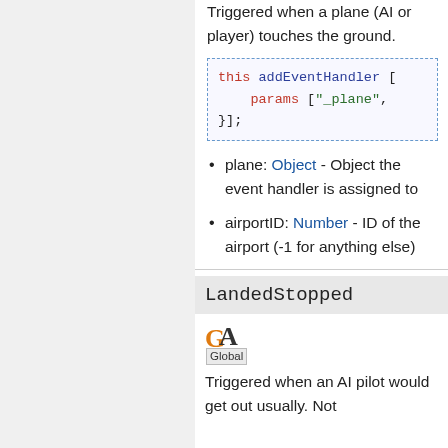Triggered when a plane (AI or player) touches the ground.
plane: Object - Object the event handler is assigned to
airportID: Number - ID of the airport (-1 for anything else)
LandedStopped
[Figure (logo): GA Global badge/logo]
Triggered when an AI pilot would get out usually. Not